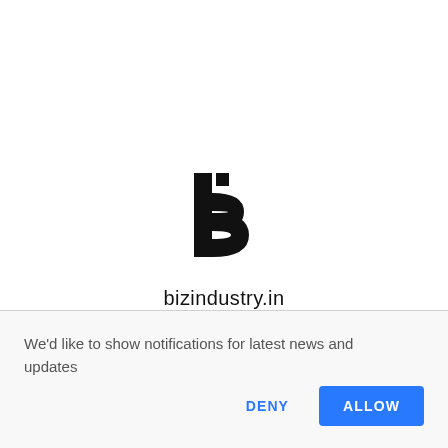[Figure (logo): bizindustry.in logo — a stylized letter B with a small square dot, rendered in black, above the text 'bizindustry.in']
We'd like to show notifications for latest news and updates
DENY
ALLOW